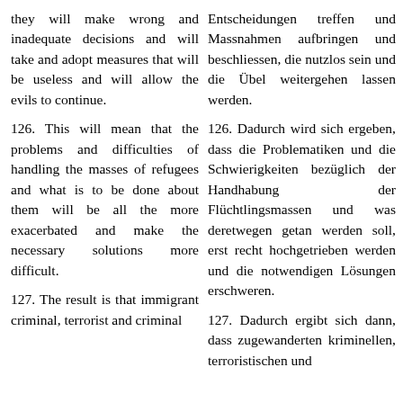they will make wrong and inadequate decisions and will take and adopt measures that will be useless and will allow the evils to continue.
Entscheidungen treffen und Massnahmen aufbringen und beschliessen, die nutzlos sein und die Übel weitergehen lassen werden.
126. This will mean that the problems and difficulties of handling the masses of refugees and what is to be done about them will be all the more exacerbated and make the necessary solutions more difficult.
126. Dadurch wird sich ergeben, dass die Problematiken und die Schwierigkeiten bezüglich der Handhabung der Flüchtlingsmassen und was deretwegen getan werden soll, erst recht hochgetrieben werden und die notwendigen Lösungen erschweren.
127. The result is that immigrant criminal, terrorist and criminal
127. Dadurch ergibt sich dann, dass zugewanderten kriminellen, terroristischen und